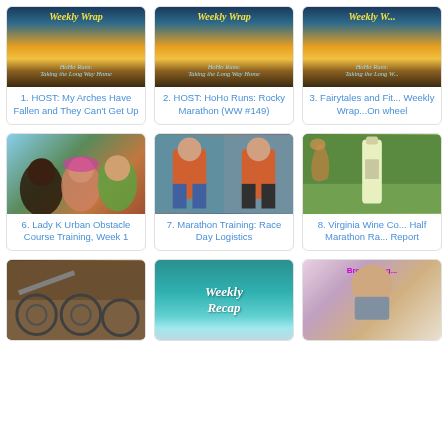[Figure (photo): Weekly Wrap sunset lake image for HoHo Runs blog]
1. HOST: My Arches Have Fallen and They Can't Get Up
[Figure (photo): Weekly Wrap sunset lake image for HoHo Runs blog]
2. HOST: HoHo Runs: Rocky Marathon (WW #149)
[Figure (photo): Weekly Wrap sunset lake image partially cropped]
3. Fairytales and Fit... Weekly Wrap...On wheel
[Figure (photo): Selfie of three runners outdoors]
6. Lady K Urban Obstacle Course Training, Week 1
[Figure (photo): Two photos of a woman in orange running shirt]
7. Marathon Training: Race Day Logistics
[Figure (photo): Hand holding a wine bottle outdoors]
8. Virginia Wine Co... Half Marathon Ra... Report
[Figure (photo): Bikes or vintage equipment indoors]
[Figure (photo): Weekly Recap teal graphic with ocean]
[Figure (photo): Woman with Broken Leg text overlay]